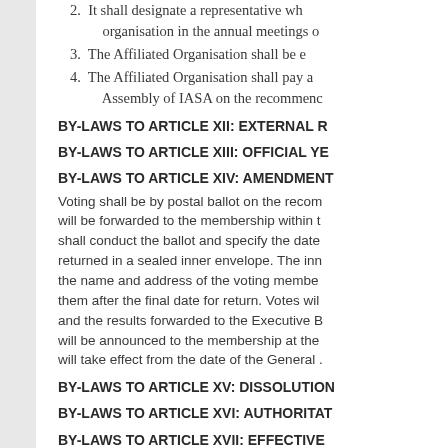2. It shall designate a representative who will represent the organisation in the annual meetings of
3. The Affiliated Organisation shall be e
4. The Affiliated Organisation shall pay a Assembly of IASA on the recommend
BY-LAWS TO ARTICLE XII: EXTERNAL R
BY-LAWS TO ARTICLE XIII: OFFICIAL YE
BY-LAWS TO ARTICLE XIV: AMENDMENT
Voting shall be by postal ballot on the recom will be forwarded to the membership within t shall conduct the ballot and specify the date returned in a sealed inner envelope. The inn the name and address of the voting membe them after the final date for return. Votes wil and the results forwarded to the Executive B will be announced to the membership at the will take effect from the date of the General .
BY-LAWS TO ARTICLE XV: DISSOLUTION
BY-LAWS TO ARTICLE XVI: AUTHORITAT
BY-LAWS TO ARTICLE XVII: EFFECTIVE